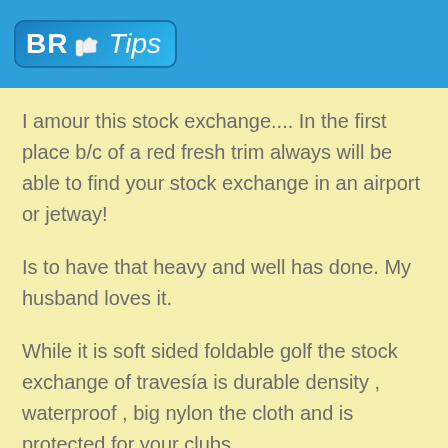BR Tips
I amour this stock exchange.... In the first place b/c of a red fresh trim always will be able to find your stock exchange in an airport or jetway!
Is to have that heavy and well has done. My husband loves it.
While it is soft sided foldable golf the stock exchange of travesía is durable density , waterproof , big nylon the cloth and is protected for your clubs.
A base is the hard PE and leaves for effortless